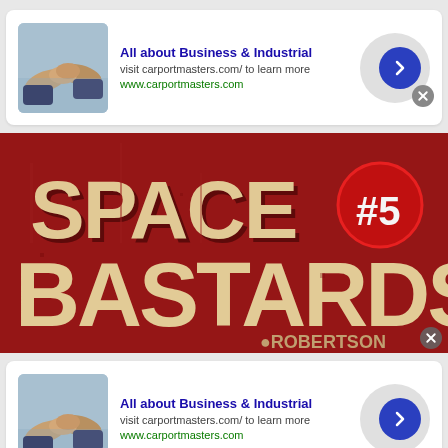[Figure (screenshot): Ad card: handshake thumbnail, 'All about Business & Industrial', visit carportmasters.com/ to learn more, www.carportmasters.com, with blue arrow button and close button]
[Figure (illustration): Large red banner image with distressed text 'SPACE BASTARDS #5' and 'ROBERTSON' watermark at bottom right]
[Figure (screenshot): Ad card: handshake thumbnail, 'All about Business & Industrial', visit carportmasters.com/ to learn more, www.carportmasters.com, with blue arrow button and close button]